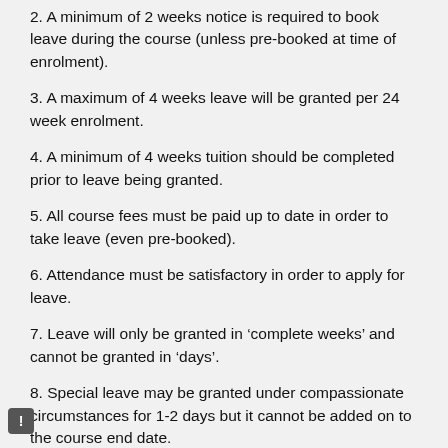2. A minimum of 2 weeks notice is required to book leave during the course (unless pre-booked at time of enrolment).
3. A maximum of 4 weeks leave will be granted per 24 week enrolment.
4. A minimum of 4 weeks tuition should be completed prior to leave being granted.
5. All course fees must be paid up to date in order to take leave (even pre-booked).
6. Attendance must be satisfactory in order to apply for leave.
7. Leave will only be granted in ‘complete weeks’ and cannot be granted in ‘days’.
8. Special leave may be granted under compassionate circumstances for 1-2 days but it cannot be added on to the course end date.